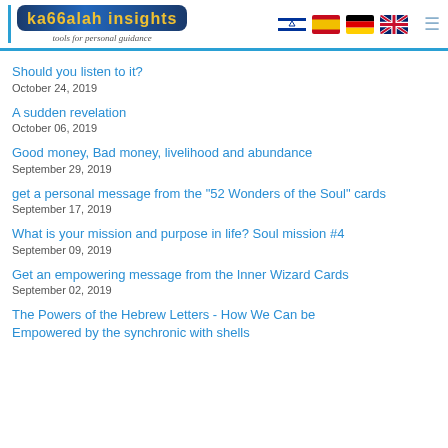Kabbalah Insights - Tools for personal guidance
Should you listen to it?
October 24, 2019
A sudden revelation
October 06, 2019
Good money, Bad money, livelihood and abundance
September 29, 2019
get a personal message from the "52 Wonders of the Soul" cards
September 17, 2019
What is your mission and purpose in life? Soul mission #4
September 09, 2019
Get an empowering message from the Inner Wizard Cards
September 02, 2019
The Powers of the Hebrew Letters - How We Can be Empowered by the synchronic with shells